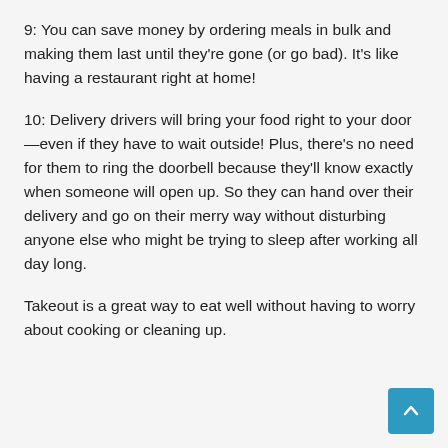9: You can save money by ordering meals in bulk and making them last until they're gone (or go bad). It's like having a restaurant right at home!
10: Delivery drivers will bring your food right to your door—even if they have to wait outside! Plus, there's no need for them to ring the doorbell because they'll know exactly when someone will open up. So they can hand over their delivery and go on their merry way without disturbing anyone else who might be trying to sleep after working all day long.
Takeout is a great way to eat well without having to worry about cooking or cleaning up.